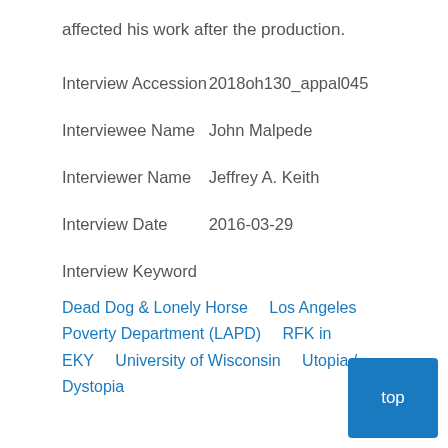affected his work after the production.
| Interview Accession | 2018oh130_appal045 |
| Interviewee Name | John Malpede |
| Interviewer Name | Jeffrey A. Keith |
| Interview Date | 2016-03-29 |
| Interview Keyword |  |
Dead Dog & Lonely Horse    Los Angeles Poverty Department (LAPD)    RFK in EKY    University of Wisconsin    Utopia / Dystopia